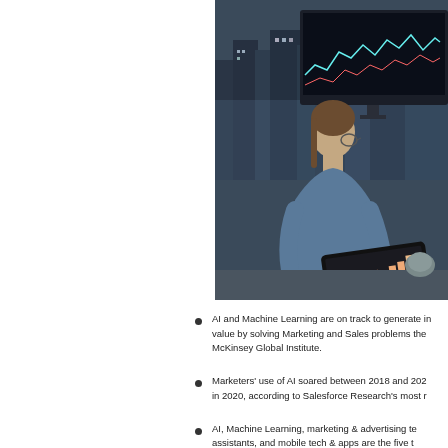[Figure (photo): A woman with a ponytail wearing glasses and a blue shirt viewed from behind, sitting at a desk looking at a large monitor displaying financial charts and holding a tablet showing bar charts, with a cityscape visible through windows in the background.]
AI and Machine Learning are on track to generate in value by solving Marketing and Sales problems the McKinsey Global Institute.
Marketers' use of AI soared between 2018 and 2020 in 2020, according to Salesforce Research's most r
AI, Machine Learning, marketing & advertising te assistants, and mobile tech & apps are the five t